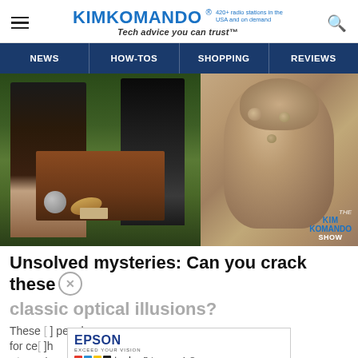KIMKOMANDO® 420+ radio stations in the USA and on demand — Tech advice you can trust™
[Figure (illustration): Navigation bar with dark blue background showing NEWS, HOW-TOS, SHOPPING, REVIEWS links]
[Figure (photo): Composite image: left half shows The Ambassadors painting (two Renaissance figures with table of objects), right half shows ancient stone carving of an animal figure. Kim Komando Show watermark in bottom right.]
Unsolved mysteries: Can you crack these classic optical illusions?
These [text obscured by ad] people for ce[text obscured] ch Kim[ando]
[Figure (screenshot): Epson EcoTank advertisement banner with Epson logo and ink block icons and text 'Bring your A-Game']